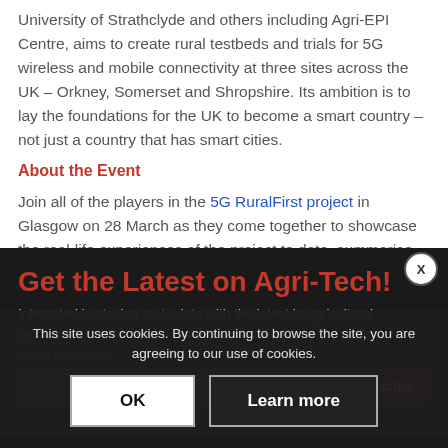University of Strathclyde and others including Agri-EPI Centre, aims to create rural testbeds and trials for 5G wireless and mobile connectivity at three sites across the UK – Orkney, Somerset and Shropshire. Its ambition is to lay the foundations for the UK to become a smart country – not just a country that has smart cities.
About the Event
Join all of the players in the 5G RuralFirst project in Glasgow on 28 March as they come together to showcase the real-life experiences of the project to date, summarise
Get the Latest on Agri-Tech!
Interested in staying up to date with the latest in agricultural technology? Subscribe to our Agri-EPI newsletter!
Email Address *
E.g. john@example.com
Subscribe
This site uses cookies. By continuing to browse the site, you are agreeing to our use of cookies.
OK
Learn more